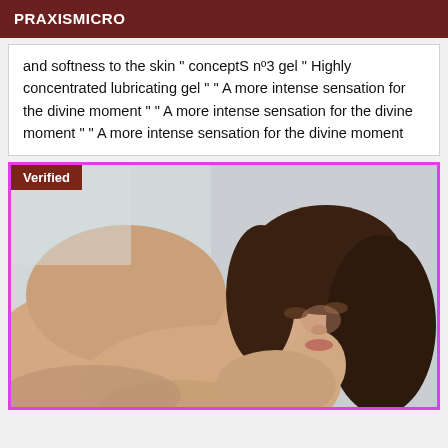PRAXISMICRO
and softness to the skin " conceptS nº3 gel " Highly concentrated lubricating gel " " A more intense sensation for the divine moment " " A more intense sensation for the divine moment " " A more intense sensation for the divine moment
[Figure (photo): Photo of a woman with brown hair, with a pink border and a dark red 'Verified' badge in the top-left corner]